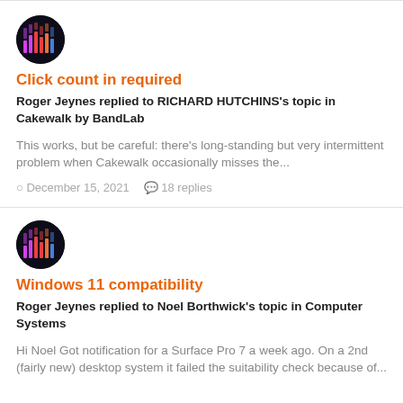[Figure (photo): Circular avatar with dark background showing colorful equalizer bars logo]
Click count in required
Roger Jeynes replied to RICHARD HUTCHINS's topic in Cakewalk by BandLab
This works, but be careful: there's long-standing but very intermittent problem when Cakewalk occasionally misses the...
December 15, 2021   18 replies
[Figure (photo): Circular avatar with dark background showing colorful equalizer bars logo]
Windows 11 compatibility
Roger Jeynes replied to Noel Borthwick's topic in Computer Systems
Hi Noel Got notification for a Surface Pro 7 a week ago. On a 2nd (fairly new) desktop system it failed the suitability check because of...